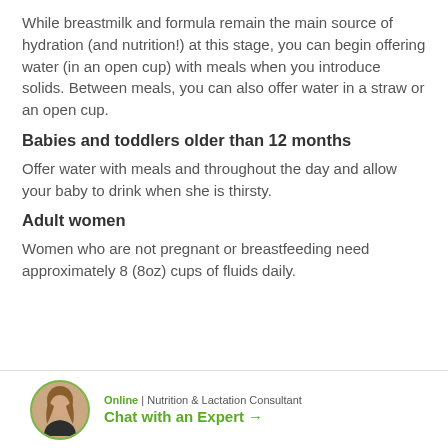While breastmilk and formula remain the main source of hydration (and nutrition!) at this stage, you can begin offering water (in an open cup) with meals when you introduce solids. Between meals, you can also offer water in a straw or an open cup.
Babies and toddlers older than 12 months
Offer water with meals and throughout the day and allow your baby to drink when she is thirsty.
Adult women
Women who are not pregnant or breastfeeding need approximately 8 (8oz) cups of fluids daily.
Online | Nutrition & Lactation Consultant
Chat with an Expert →